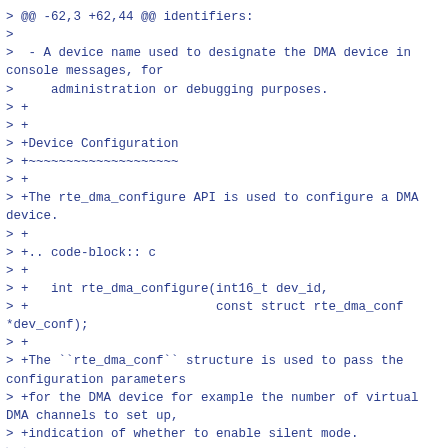> @@ -62,3 +62,44 @@ identifiers:
>
>  - A device name used to designate the DMA device in console messages, for
>     administration or debugging purposes.
> +
> +
> +Device Configuration
> +~~~~~~~~~~~~~~~~~~~~
> +
> +The rte_dma_configure API is used to configure a DMA device.
> +
> +.. code-block:: c
> +
> +   int rte_dma_configure(int16_t dev_id,
> +                         const struct rte_dma_conf *dev_conf);
> +
> +The ``rte_dma_conf`` structure is used to pass the configuration parameters
> +for the DMA device for example the number of virtual DMA channels to set up,
> +indication of whether to enable silent mode.
> +
> +
> +Configuration of Virtual DMA Channels
> +~~~~~~~~~~~~~~~~~~~~~~~~~~~~~~~~~~~~~~
> +
> +The rte_dma_vchan_setup API is used to configure a